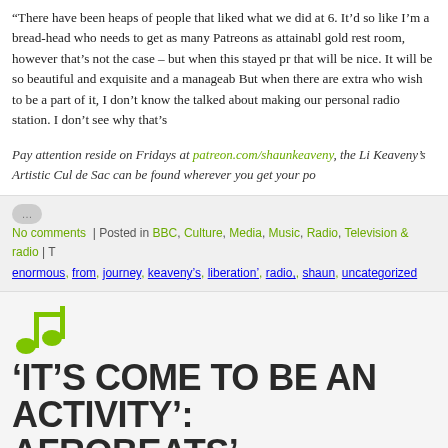“There have been heaps of people that liked what we did at 6. It’d so like I’m a bread-head who needs to get as many Patreons as attainable gold rest room, however that’s not the case – but when this stayed pr that will be nice. It will be so beautiful and exquisite and a manageabl But when there are extra who wish to be a part of it, I don’t know the talked about making our personal radio station. I don’t see why that’s
Pay attention reside on Fridays at patreon.com/shaunkeaveny, the Li Keaveny’s Artistic Cul de Sac can be found wherever you get your po
No comments | Posted in BBC, Culture, Media, Music, Radio, Television & radio | T enormous, from, journey, keaveny’s, liberation’, radio,, shaun, uncategorized
‘IT’S COME TO BE AN ACTIVITY’: AFROBEATS’ CONSTANT COURSE TO G SUPREMACY
O f all the TikTok patterns to damage this year, possibly among the le